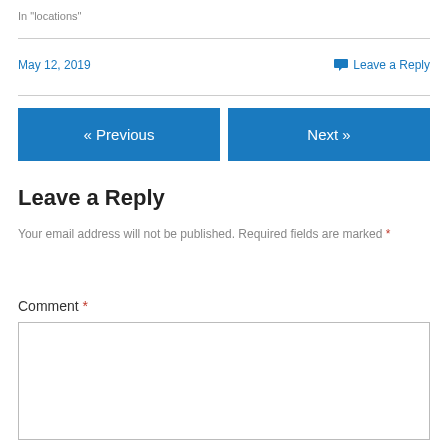In "locations"
May 12, 2019
Leave a Reply
« Previous
Next »
Leave a Reply
Your email address will not be published. Required fields are marked *
Comment *